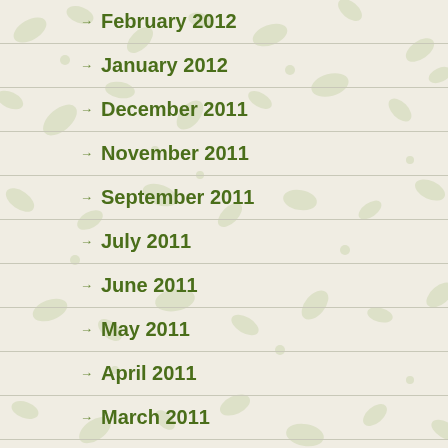February 2012
January 2012
December 2011
November 2011
September 2011
July 2011
June 2011
May 2011
April 2011
March 2011
February 2011